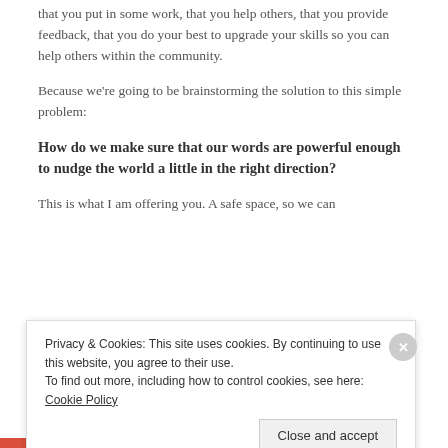that you put in some work, that you help others, that you provide feedback, that you do your best to upgrade your skills so you can help others within the community.
Because we're going to be brainstorming the solution to this simple problem:
How do we make sure that our words are powerful enough to nudge the world a little in the right direction?
This is what I am offering you. A safe space, so we can
Privacy & Cookies: This site uses cookies. By continuing to use this website, you agree to their use.
To find out more, including how to control cookies, see here: Cookie Policy
Close and accept